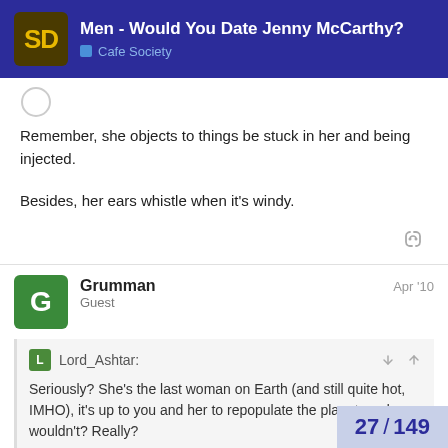Men - Would You Date Jenny McCarthy? | Cafe Society
[Figure (illustration): Partial user avatar circle at top of post]
Remember, she objects to things be stuck in her and being injected.

Besides, her ears whistle when it's windy.
Grumman  Guest  Apr '10
Lord_Ashtar: Seriously? She's the last woman on Earth (and still quite hot, IMHO), it's up to you and her to repopulate the planet, and you wouldn't? Really?
I didn't mean it seriously, but no, I wouldn't spend time around someone I don't resp...